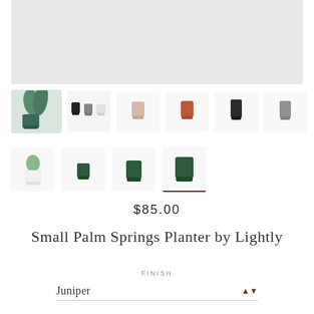[Figure (photo): Large light gray placeholder rectangle representing the main product image area]
[Figure (photo): Row of product thumbnail images: main photo with green planter and plant, three planters in black/gray/white, single pink/blush planter, single terracotta planter, single dark tall planter, single gray planter]
[Figure (photo): Second row of product thumbnails: small white planter with succulent, small dark green planter, medium dark green planter, large dark green planter (selected/highlighted)]
$85.00
Small Palm Springs Planter by Lightly
FINISH
Juniper